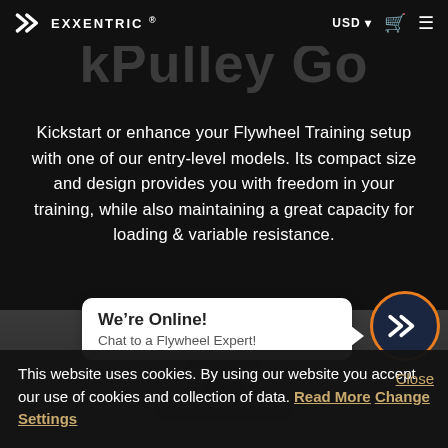EXXENTRIC ® | USD | Cart | Menu
kPulley Go
Kickstart or enhance your Flywheel Training setup with one of our entry-level models. Its compact size and design provides you with freedom in your training, while also maintaining a great capacity for loading & variable resistance.
[Figure (screenshot): Chat widget overlay saying 'We're Online! Chat to a Flywheel Expert!' with Exxentric logo avatar button with orange ring, and partial product image of kPulley Go device below]
This website uses cookies. By using our website you accept our use of cookies and collection of data. Read More Change Settings